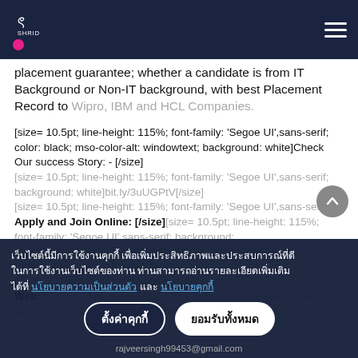Shride logo and hamburger menu
placement guarantee; whether a candidate is from IT Background or Non-IT background, with best Placement Record to Wipro, IBM and HCL Companies.
[size= 10.5pt; line-height: 115%; font-family: 'Segoe UI',sans-serif; color: black; mso-color-alt: windowtext; background: white]Check Our success Story: - [/size] [size= 10.5pt; line-height: 115%; font-family: 'Segoe UI',sans-serif; background: white]bit.ly/3uUGPtV[/size] [size= 10.5pt; line-height: 115%; font-family: 'Segoe UI',sans-serif] Apply and Join Online: [/size][size= 10.5pt; line-height: 115%; font-family: 'Segoe UI',sans-serif; background: white]https://lnkd.in/g8s-3ZF[/size][size= 10.5pt; line-height: 115%; font-family: 'Segoe UI',sans-serif] Web: [/size][size= 10.5pt; line-height: 115%; font-family: 'Segoe UI',sans-serif; background: white]https://www.shrideinfocare.com/[/size]
เว็บไซต์นี้มีการใช้งานคุกกี้ เพื่อเพิ่มประสิทธิภาพและประสบการณ์ที่ดีในการใช้งานเว็บไซต์ของท่าน ท่านสามารถอ่านรายละเอียดเพิ่มเติมได้ที่ นโยบายความเป็นส่วนตัว และ นโยบายคุกกี้
ตั้งค่าคุกกี้  ยอมรับทั้งหมด
rajveersingh99453@gmail.com